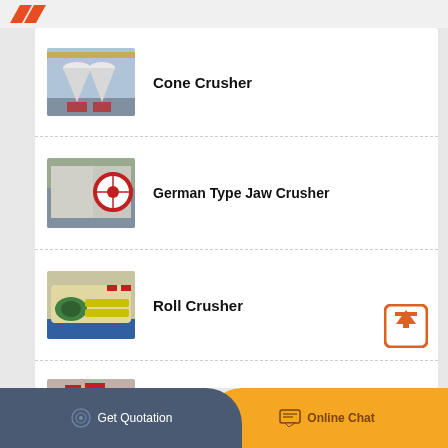[Figure (logo): Orange/red angular logo mark in page header]
Cone Crusher
German Type Jaw Crusher
Roll Crusher
Spring Cone Crusher
Get Quotation   Online Chat